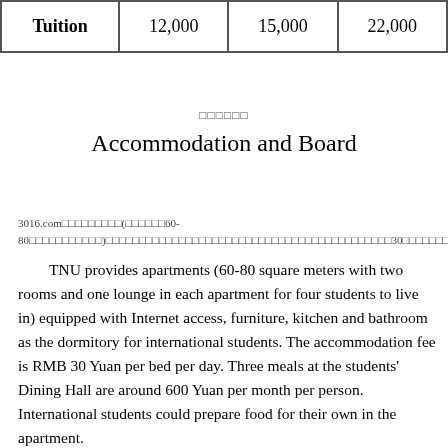| Tuition | 12,000 | 15,000 | 22,000 |
□□□□□□
Accommodation and Board
3016.com□□□□□□□□□(□□□□□□60-80□□□□□□□□□□□)□□□□□□□□□□□□□□□□□□□□□□□□□□□□□□□□30□□□□□□□□□□□□□□□600□□□□□□□□□□□
TNU provides apartments (60-80 square meters with two rooms and one lounge in each apartment for four students to live in) equipped with Internet access, furniture, kitchen and bathroom as the dormitory for international students. The accommodation fee is RMB 30 Yuan per bed per day. Three meals at the students' Dining Hall are around 600 Yuan per month per person. International students could prepare food for their own in the apartment.